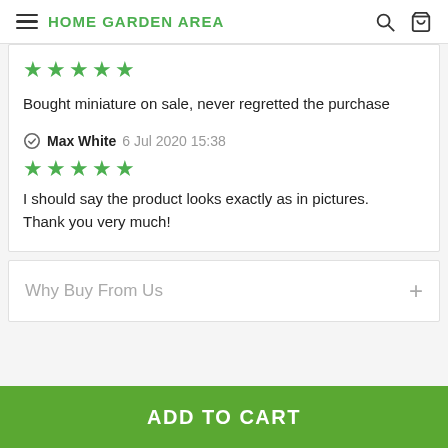HOME GARDEN AREA
Bought miniature on sale, never regretted the purchase
Max White  6 Jul 2020 15:38
I should say the product looks exactly as in pictures. Thank you very much!
Why Buy From Us
ADD TO CART